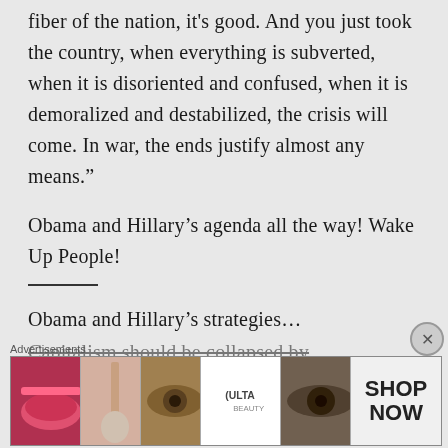fiber of the nation, it's good. And you just took the country, when everything is subverted, when it is disoriented and confused, when it is demoralized and destabilized, the crisis will come. In war, the ends justify almost any means.”
Obama and Hillary’s agenda all the way! Wake Up People!
Obama and Hillary’s strategies…
Capitalism should be collapsed by…
Advertisements
[Figure (photo): Advertisement banner showing cosmetic/makeup images and ULTA beauty logo with SHOP NOW text]